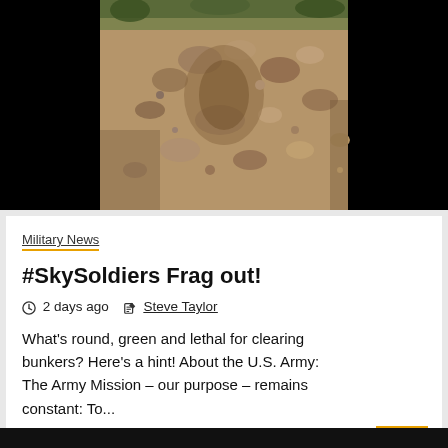[Figure (photo): Rocky dirt terrain/hillside with gravel and vegetation, flanked by black bars on left and right (video thumbnail format)]
Military News
#SkySoldiers Frag out!
2 days ago   Steve Taylor
What's round, green and lethal for clearing bunkers? Here's a hint! About the U.S. Army: The Army Mission – our purpose – remains constant: To...